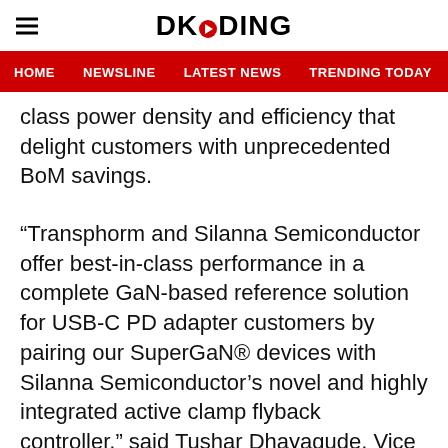DKODING
HOME  NEWSLINE  LATEST NEWS  TRENDING TODAY  ENT
class power density and efficiency that delight customers with unprecedented BoM savings.
“Transphorm and Silanna Semiconductor offer best-in-class performance in a complete GaN-based reference solution for USB-C PD adapter customers by pairing our SuperGaN® devices with Silanna Semiconductor’s novel and highly integrated active clamp flyback controller,” said Tushar Dhayagude, Vice President Field Applications and Technical